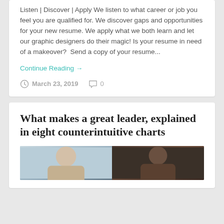Listen | Discover | Apply We listen to what career or job you feel you are qualified for. We discover gaps and opportunities for your new resume. We apply what we both learn and let our graphic designers do their magic! Is your resume in need of a makeover?  Send a copy of your resume...
Continue Reading →
March 23, 2019  0
What makes a great leader, explained in eight counterintuitive charts
[Figure (photo): Photo of people, two halves visible - left half shows a lighter toned person, right half shows a darker background with a person]